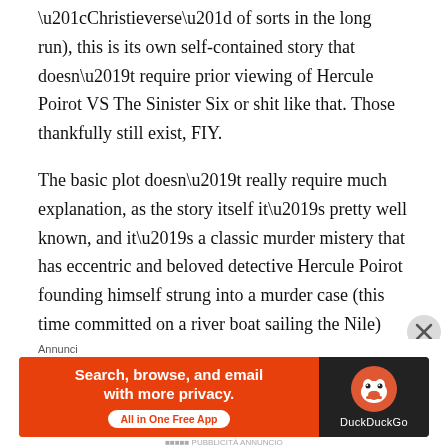“Christieverse” of sorts in the long run), this is its own self-contained story that doesn’t require prior viewing of Hercule Poirot VS The Sinister Six or shit like that. Those thankfully still exist, FIY.
The basic plot doesn’t really require much explanation, as the story itself it’s pretty well known, and it’s a classic murder mistery that has eccentric and beloved detective Hercule Poirot founding himself strung into a murder case (this time committed on a river boat sailing the Nile) while invited by an acquaintance of his and “employed” by a couple to ward off a crazed stalker.
It’s definitely old-fashioned, down to the “ol’ school
[Figure (other): DuckDuckGo advertisement banner: orange background on left with text 'Search, browse, and email with more privacy. All in One Free App' and dark background on right with DuckDuckGo logo and duck icon. Labeled 'Annunci' above.]